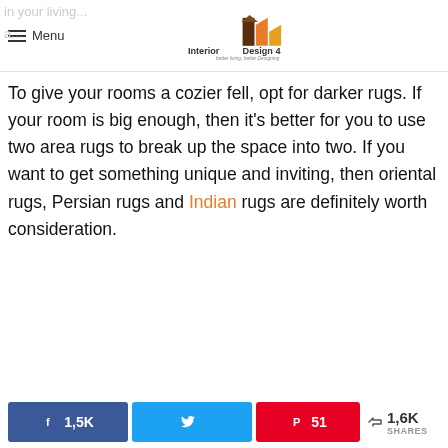Interior Design 4 — better living, better Designing — Menu
To give your rooms a cozier fell, opt for darker rugs. If your room is big enough, then it's better for you to use two area rugs to break up the space into two. If you want to get something unique and inviting, then oriental rugs, Persian rugs and Indian rugs are definitely worth consideration.
1,5K shares on Facebook | Tweet on Twitter | 51 on Pinterest | 1,6K SHARES